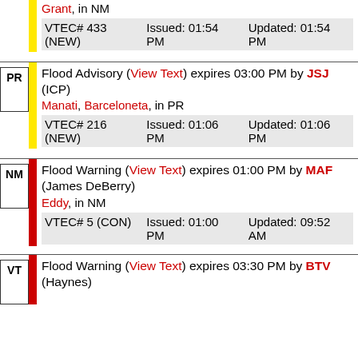Grant, in NM
| VTEC# 433 (NEW) | Issued: 01:54 PM | Updated: 01:54 PM |
| --- | --- | --- |
Flood Advisory (View Text) expires 03:00 PM by JSJ (ICP)
Manati, Barceloneta, in PR
| VTEC# 216 (NEW) | Issued: 01:06 PM | Updated: 01:06 PM |
| --- | --- | --- |
Flood Warning (View Text) expires 01:00 PM by MAF (James DeBerry)
Eddy, in NM
| VTEC# 5 (CON) | Issued: 01:00 PM | Updated: 09:52 AM |
| --- | --- | --- |
Flood Warning (View Text) expires 03:30 PM by BTV (Haynes)